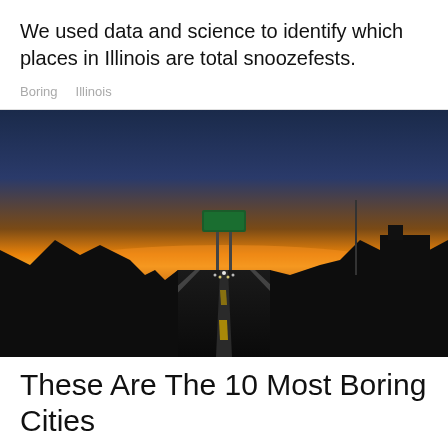We used data and science to identify which places in Illinois are total snoozefests.
Boring    Illinois
[Figure (photo): A nighttime or dusk road photo showing a straight highway stretching toward the horizon with a vivid orange and dark blue sunset sky. Silhouettes of trees and structures line the road. A green highway sign is visible overhead.]
These Are The 10 Most Boring Cities In Illinois